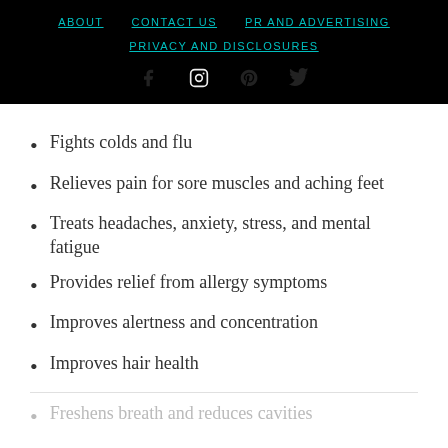ABOUT | CONTACT US | PR AND ADVERTISING | PRIVACY AND DISCLOSURES
Fights colds and flu
Relieves pain for sore muscles and aching feet
Treats headaches, anxiety, stress, and mental fatigue
Provides relief from allergy symptoms
Improves alertness and concentration
Improves hair health
Freshens breath and reduces cavities